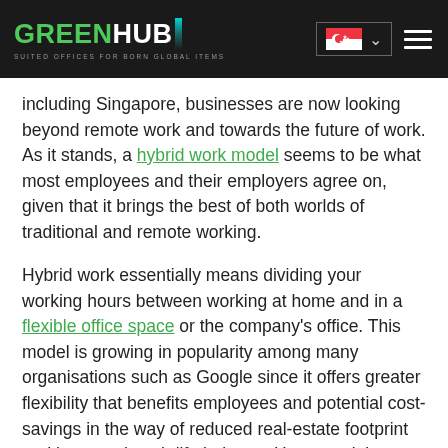GREENHUB — Suited Offices for Born Global Items [Singapore flag] navigation
including Singapore, businesses are now looking beyond remote work and towards the future of work. As it stands, a hybrid work model seems to be what most employees and their employers agree on, given that it brings the best of both worlds of traditional and remote working.
Hybrid work essentially means dividing your working hours between working at home and in a flexible office space or the company's office. This model is growing in popularity among many organisations such as Google since it offers greater flexibility that benefits employees and potential cost-savings in the way of reduced real-estate footprint and improved work-life balance. However, it is essential to note that hybrid working is unlike working in a traditional office or solely working from home, as both priorities and activities from both...